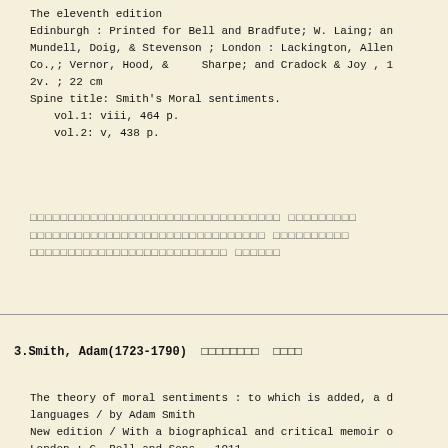The eleventh edition
Edinburgh : Printed for Bell and Bradfute; W. Laing; and
Mundell, Doig, & Stevenson ; London : Lackington, Allen,
Co.,; Vernor, Hood, &    Sharpe; and Cradock & Joy , 1
2v. ; 22 cm
Spine title: Smith's Moral sentiments.
  vol.1: viii, 464 p.
  vol.2: v, 438 p.
□□□□□□□□□□□□□□□□□□□□□□□□□□□□□□□□□ □□□□□□□□□
□□□□□□□□□□□□□□□□□□□□□□□□□□□□□□□ □□□□□□□□□□
□□□□□□□□□□□□□□□□□□□□□□□□□□ □□□□□□
3.Smith, Adam(1723-1790)  □□□□□□□□  □□□□
The theory of moral sentiments : to which is added, a d
languages / by Adam Smith
New edition / With a biographical and critical memoir o
London : G. Bell and Sons , 1911